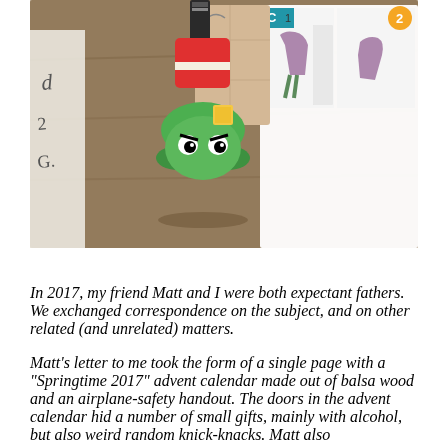[Figure (photo): A photo showing a green Marvin the Martian USB flash drive figure on a wooden surface, with an airplane safety card/instructions booklet visible in the background on the right side.]
In 2017, my friend Matt and I were both expectant fathers. We exchanged correspondence on the subject, and on other related (and unrelated) matters.
Matt's letter to me took the form of a single page with a "Springtime 2017" advent calendar made out of balsa wood and an airplane-safety handout. The doors in the advent calendar hid a number of small gifts, mainly with alcohol, but also weird random knick-knacks. Matt also